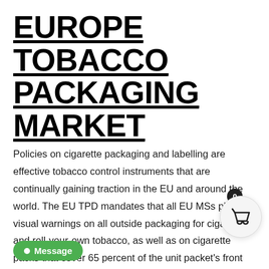EUROPE TOBACCO PACKAGING MARKET
Policies on cigarette packaging and labelling are effective tobacco control instruments that are continually gaining traction in the EU and around the world. The EU TPD mandates that all EU MSs place visual warnings on all outside packaging for cigarettes and roll-your-own tobacco, as well as on cigarette packs that cover 65 percent of the unit packet's front and back surfaces.